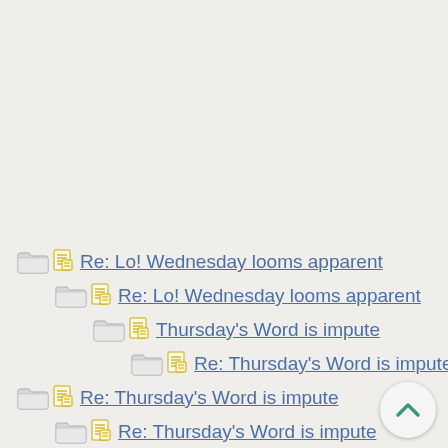Re: Lo! Wednesday looms apparent
Re: Lo! Wednesday looms apparent
Thursday's Word is impute
Re: Thursday's Word is impute
Re: Thursday's Word is impute
Re: Thursday's Word is impute